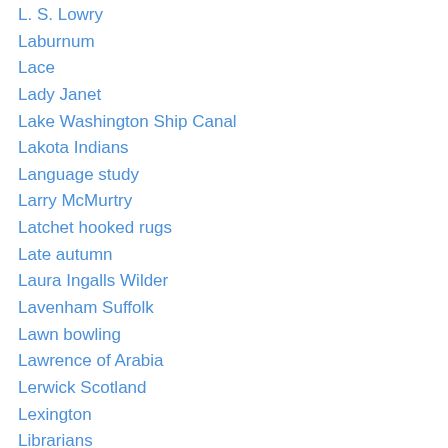L. S. Lowry
Laburnum
Lace
Lady Janet
Lake Washington Ship Canal
Lakota Indians
Language study
Larry McMurtry
Latchet hooked rugs
Late autumn
Laura Ingalls Wilder
Lavenham Suffolk
Lawn bowling
Lawrence of Arabia
Lerwick Scotland
Lexington
Librarians
Libraries
Library resources
Life Oversea